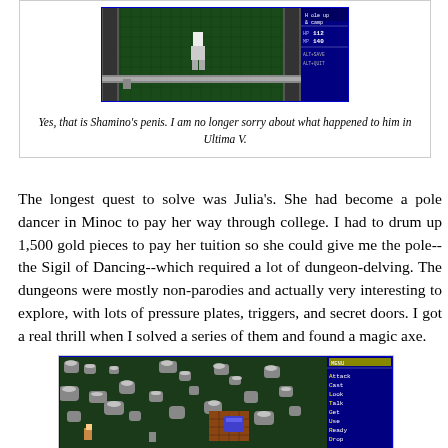[Figure (screenshot): Retro video game screenshot showing a character in a dungeon/outdoor area with green tiled floor, stone columns, a UI panel on the right showing HP 112, MP 140, ALT+SAVE, ALT+QUIT, and a 'Hole up & camp' option.]
Yes, that is Shamino's penis. I am no longer sorry about what happened to him in Ultima V.
The longest quest to solve was Julia's. She had become a pole dancer in Minoc to pay her way through college. I had to drum up 1,500 gold pieces to pay her tuition so she could give me the pole--the Sigil of Dancing--which required a lot of dungeon-delving. The dungeons were mostly non-parodies and actually very interesting to explore, with lots of pressure plates, triggers, and secret doors. I got a real thrill when I solved a series of them and found a magic axe.
[Figure (screenshot): Retro video game screenshot showing a dungeon/cave scene with rocky walls, snowy/rocky terrain, a brick structure, and a right-side UI panel showing options: A Attack, C Cast, L Look, T Talk, G Get, U Use, R Ready, D Drop.]